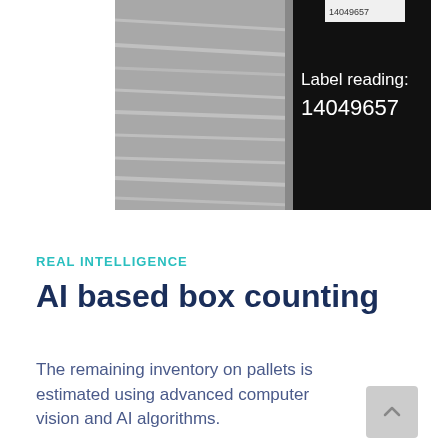[Figure (photo): Warehouse shelving with wrapped pallets on the left side (grayscale), and a dark black panel on the right showing white text 'Label reading: 14049657'. A barcode label is partially visible at top.]
REAL INTELLIGENCE
AI based box counting
The remaining inventory on pallets is estimated using advanced computer vision and AI algorithms.